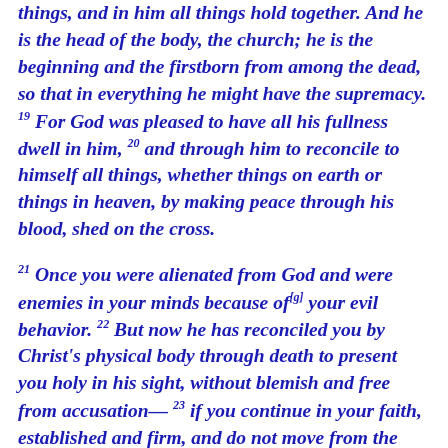things, and in him all things hold together. 18 And he is the head of the body, the church; he is the beginning and the firstborn from among the dead, so that in everything he might have the supremacy. 19 For God was pleased to have all his fullness dwell in him, 20 and through him to reconcile to himself all things, whether things on earth or things in heaven, by making peace through his blood, shed on the cross.
21 Once you were alienated from God and were enemies in your minds because of [g] your evil behavior. 22 But now he has reconciled you by Christ's physical body through death to present you holy in his sight, without blemish and free from accusation— 23 if you continue in your faith, established and firm, and do not move from the hope held out in the gospel. This is the gospel that